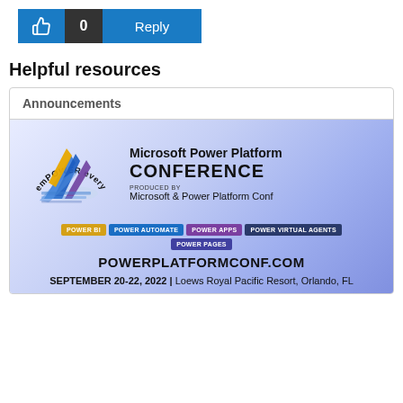[Figure (screenshot): Like button (thumbs up icon), count showing 0, and Reply button in blue/dark style]
Helpful resources
Announcements
[Figure (logo): Microsoft Power Platform Conference banner with emPOWER everyone logo, conference title, produced by Microsoft & Power Platform Conf, product tags (Power BI, Power Automate, Power Apps, Power Virtual Agents, Power Pages), POWERPLATFORMCONF.COM, and date September 20-22, 2022 at Loews Royal Pacific Resort, Orlando, FL]